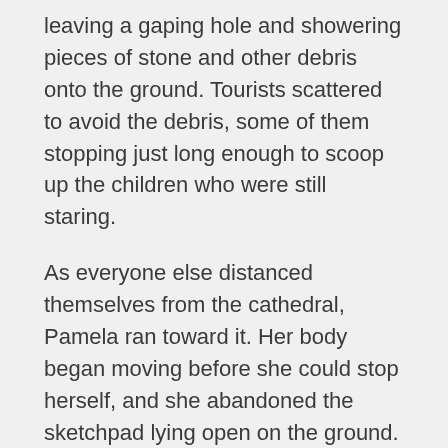leaving a gaping hole and showering pieces of stone and other debris onto the ground. Tourists scattered to avoid the debris, some of them stopping just long enough to scoop up the children who were still staring.
As everyone else distanced themselves from the cathedral, Pamela ran toward it. Her body began moving before she could stop herself, and she abandoned the sketchpad lying open on the ground. She could hear the body crashing through the buttresses and the ceiling of the main worship hall as she shoved her way into the church. With a grunt, she pushed the heavy double doors open with her shoulder.
Pamela paused for a few seconds to catch her breath and allow the throbbing in her shoulder to subside. Her